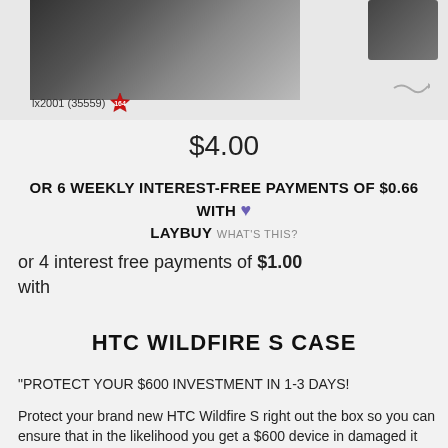[Figure (photo): Product photo strip showing HTC Wildfire S cases — two dark phone case images on the left and a smaller case thumbnail on the right. Seller badge 'lx2001 (35559)' with red star rating shown below left image.]
$4.00
OR 6 WEEKLY INTEREST-FREE PAYMENTS OF $0.66 WITH ♥ LAYBUY WHAT'S THIS?
or 4 interest free payments of $1.00 with
HTC WILDFIRE S CASE
"PROTECT YOUR $600 INVESTMENT IN 1-3 DAYS!
Protect your brand new HTC Wildfire S right out the box so you can ensure that in the likelihood you get a $600 device in damaged it down with